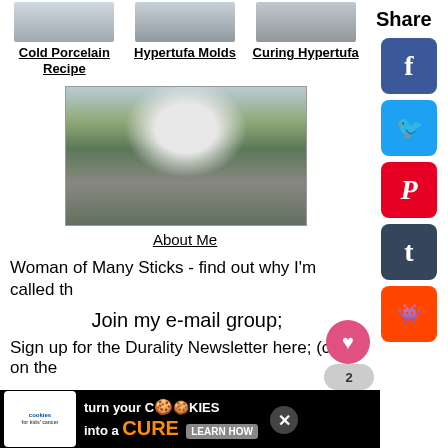[Figure (photo): Small thumbnail photo related to Cold Porcelain Recipe]
Cold Porcelain Recipe
[Figure (photo): Small thumbnail photo related to Hypertufa Molds]
Hypertufa Molds
[Figure (photo): Small thumbnail photo related to Curing Hypertufa]
Curing Hypertufa
[Figure (photo): Photo of a woman standing in snow holding sticks, with garden structure visible]
About Me
Woman of Many Sticks - find out why I'm called th
Join my e-mail group;
Sign up for the Durality Newsletter here; (click on the
[Figure (screenshot): Advertisement banner: cookies for kids cancer - turn your cookies into a CURE LEARN HOW]